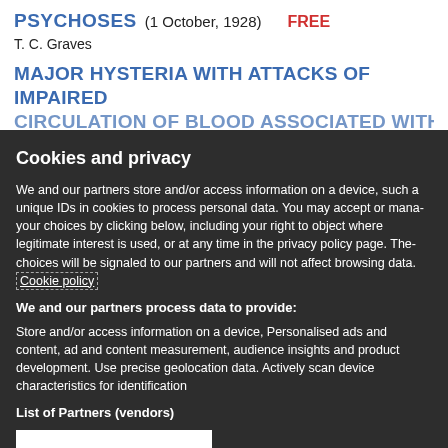PSYCHOSES (1 October, 1928) FREE
T. C. Graves
MAJOR HYSTERIA WITH ATTACKS OF IMPAIRED
Cookies and privacy
We and our partners store and/or access information on a device, such as unique IDs in cookies to process personal data. You may accept or manage your choices by clicking below, including your right to object where legitimate interest is used, or at any time in the privacy policy page. These choices will be signaled to our partners and will not affect browsing data. Cookie policy
We and our partners process data to provide:
Store and/or access information on a device, Personalised ads and content, ad and content measurement, audience insights and product development. Use precise geolocation data. Actively scan device characteristics for identification
List of Partners (vendors)